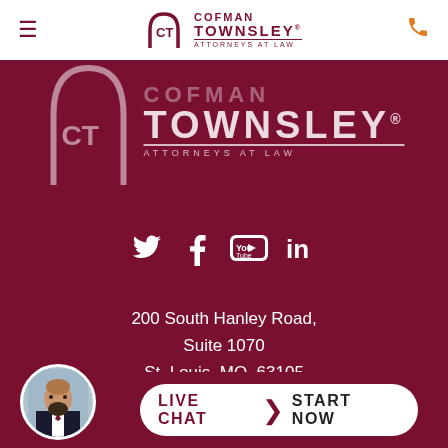[Figure (logo): Cofman Townsley Attorneys at Law logo in navigation bar, white background with dark red arch icon and text]
[Figure (logo): Large Cofman Townsley Attorneys at Law logo on dark red background]
[Figure (infographic): Social media icons: Twitter, Facebook, YouTube, LinkedIn in white on dark red background]
200 South Hanley Road, Suite 1070
St. Louis, MO, 63105
1-314-499-1190
[Figure (infographic): Live Chat Start Now button with attorney avatar photo at bottom of page]